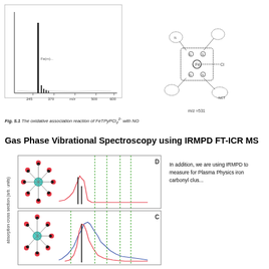[Figure (other): Mass spectrum (left) and molecular structure diagram of FeTPyPCl2^2- iron porphyrin complex with NO (right), showing reaction product at m/z ~531]
Fig. 5.1 The oxidative association reaction of FeTPyPCl2^2- with NO
Gas Phase Vibrational Spectroscopy using IRMPD FT-ICR MS
[Figure (other): IRMPD spectrum panels D and C showing absorption cross section (arb. units) vs wavenumber for iron carbonyl clusters, with molecular structure models (ball-and-stick) on the left side. Panel D shows red experimental and black calculated lines with green dashed vertical markers. Panel C shows blue and red experimental lines with green dashed vertical markers.]
In addition, we are using IRMPD to measure for Plasma Physics iron carbonyl clus...